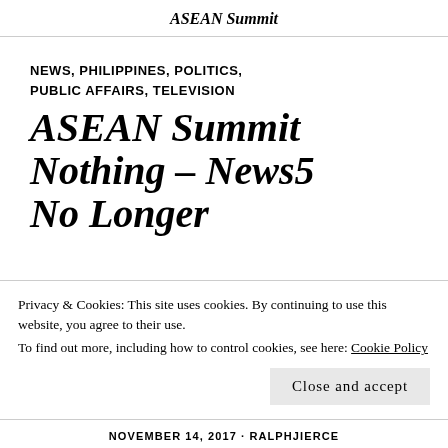ASEAN Summit
NEWS, PHILIPPINES, POLITICS, PUBLIC AFFAIRS, TELEVISION
ASEAN Summit Nothing – News5 No Longer
Privacy & Cookies: This site uses cookies. By continuing to use this website, you agree to their use.
To find out more, including how to control cookies, see here: Cookie Policy
NOVEMBER 14, 2017 · RALPHJIERCE